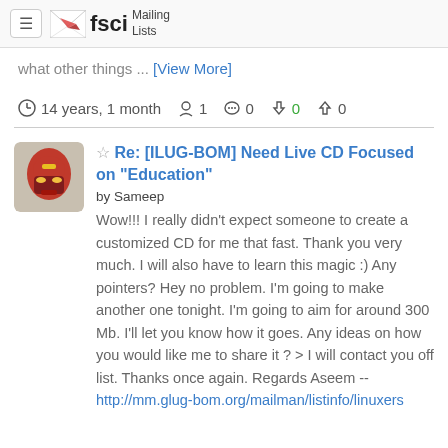fsci Mailing Lists
what other things ... [View More]
14 years, 1 month  1  0  0 0
Re: [ILUG-BOM] Need Live CD Focused on "Education"
by Sameep
Wow!!! I really didn't expect someone to create a customized CD for me that fast. Thank you very much. I will also have to learn this magic :) Any pointers? Hey no problem. I'm going to make another one tonight. I'm going to aim for around 300 Mb. I'll let you know how it goes. Any ideas on how you would like me to share it ? > I will contact you off list. Thanks once again. Regards Aseem -- http://mm.glug-bom.org/mailman/listinfo/linuxers